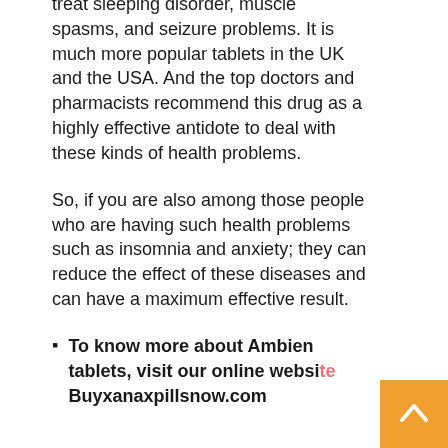treat sleeping disorder, muscle spasms, and seizure problems. It is much more popular tablets in the UK and the USA. And the top doctors and pharmacists recommend this drug as a highly effective antidote to deal with these kinds of health problems.
So, if you are also among those people who are having such health problems such as insomnia and anxiety; they can reduce the effect of these diseases and can have a maximum effective result.
To know more about Ambien tablets, visit our online website Buyxanaxpillsnow.com
How is Ambien beneficial for the treatment of Insomnia?
Ambien tablet contains good tolerability power included with some sedative properties, that helps to increase the